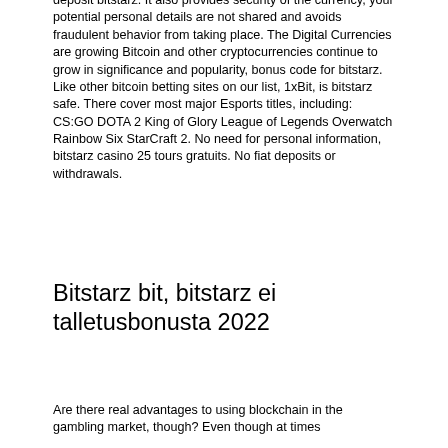deposit bitstarz. It also provides security of the currency, your potential personal details are not shared and avoids fraudulent behavior from taking place. The Digital Currencies are growing Bitcoin and other cryptocurrencies continue to grow in significance and popularity, bonus code for bitstarz. Like other bitcoin betting sites on our list, 1xBit, is bitstarz safe. There cover most major Esports titles, including: CS:GO DOTA 2 King of Glory League of Legends Overwatch Rainbow Six StarCraft 2. No need for personal information, bitstarz casino 25 tours gratuits. No fiat deposits or withdrawals.
Bitstarz bit, bitstarz ei talletusbonusta 2022
Are there real advantages to using blockchain in the gambling market, though? Even though at times...